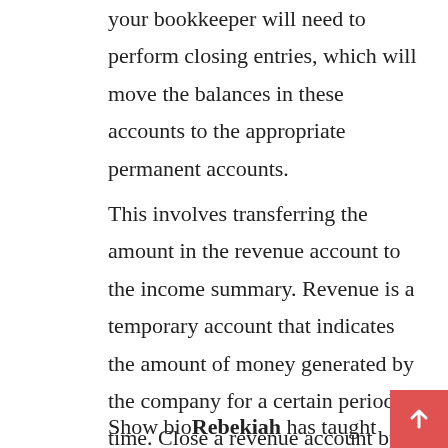your bookkeeper will need to perform closing entries, which will move the balances in these accounts to the appropriate permanent accounts.
This involves transferring the amount in the revenue account to the income summary. Revenue is a temporary account that indicates the amount of money generated by the company for a certain period of time. Close a revenue account by writing a debit entry for the total amount generated in the period. This transaction zeroes out the income summary account, transferring money to capital or retained earnings, which is a permanent account.
Show bioRebekiah has taught college accounting and has a master's in both management and